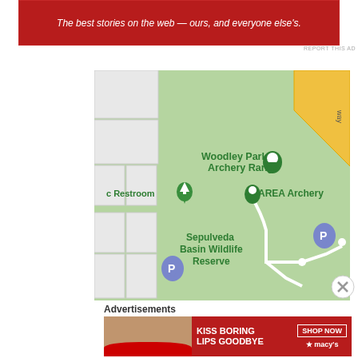[Figure (other): Red advertisement banner at top: 'The best stories on the web — ours, and everyone else's.']
REPORT THIS AD
[Figure (map): Google Maps screenshot showing Woodley Park Archery Range, AREA Archery, Sepulveda Basin Wildlife Reserve, parking markers, restroom marker with tree icon, white paths, green park area, yellow diagonal road (upper right), and grey building blocks (upper and lower left).]
Advertisements
[Figure (other): Red Macy's advertisement banner: 'KISS BORING LIPS GOODBYE' with woman's face and red lips, 'SHOP NOW' button and Macy's star logo on right.]
REPORT THIS AD